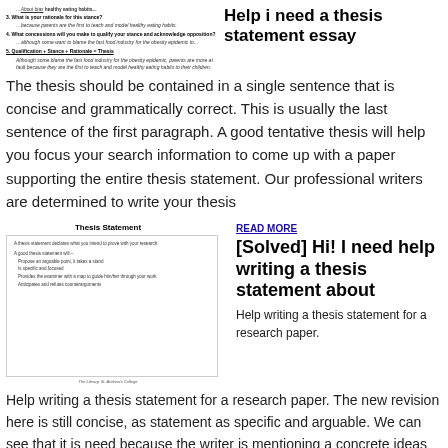[Figure (screenshot): Screenshot of a numbered list about thesis statement construction including questions about rationale, concessions, and a formula: Qualification + Stance + Rationale = Thesis]
Help i need a thesis statement essay
The thesis should be contained in a single sentence that is concise and grammatically correct. This is usually the last sentence of the first paragraph. A good tentative thesis will help you focus your search information to come up with a paper supporting the entire thesis statement. Our professional writers are determined to write your thesis
[Figure (screenshot): Thumbnail image titled 'Thesis Statement' listing: A thesis statement declares what you intend to prove with your research. A good thesis statement will: Propose an arguable point, it takes a stand. Is specific and focused. Provides the examiner with a map to guide him/her through your work. Anticipates and refutes counterarguments. The Library, St. Andrew's College.]
READ MORE
[Solved] Hi! I need help writing a thesis statement about
Help writing a thesis statement for a research paper. The new revision here is still concise, as statement as specific and arguable. We can see that it is need because the writer is mentioning a concrete ideas and b exact authors. We can also gather the for business and the topic help